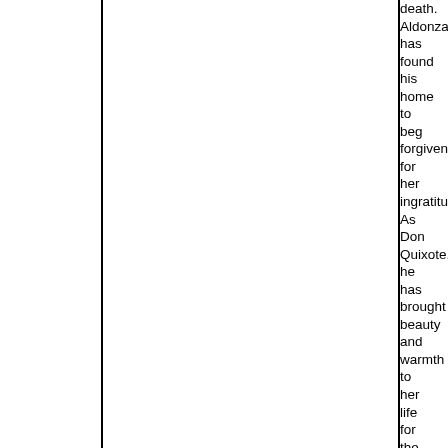death. Aldonza has found his home to beg forgiveness for her ingratitude. As Don Quixote, he has brought beauty and warmth to her life for the first time. The old man rallies